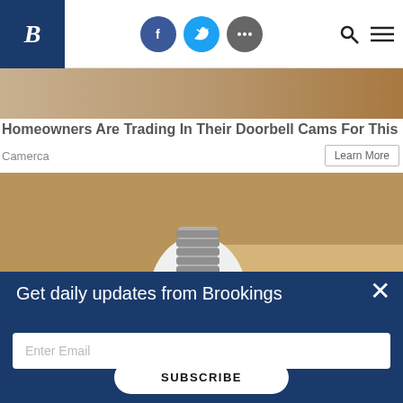Brookings Institution header with logo and social icons (Facebook, Twitter, More), Search and Menu
[Figure (photo): Advertisement banner showing stone/granite texture background]
Homeowners Are Trading In Their Doorbell Cams For This
Camerca
Learn More
[Figure (photo): Hand holding a white LED light bulb with silver screw base against a wooden background]
Get daily updates from Brookings
Enter Email
SUBSCRIBE